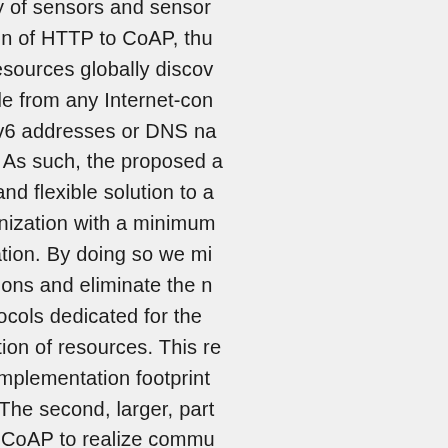discovery of sensors and sensor translation of HTTP to CoAP, thus sensor resources globally discoverable accessible from any Internet-connected either IPv6 addresses or DNS names or CoAP. As such, the proposed a feasible and flexible solution to a self-organization with a minimum configuration. By doing so we minimize interventions and eliminate the need for new protocols dedicated for the organization of resources. This reduces and the implementation footprint on devices. The second, larger, part on using CoAP to realize communication of resources. In many IoT applications sensors or actuators need to be groups rather than individually, since resources might not be sufficient